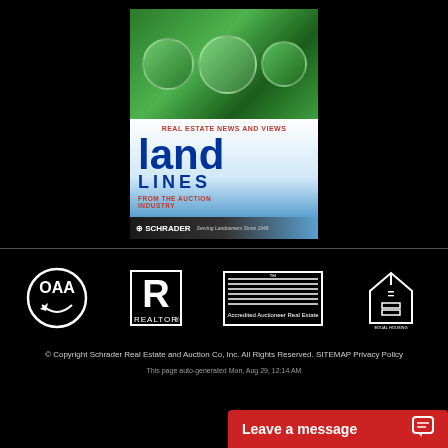[Figure (illustration): Magazine cover for 'Land Lines - Real Estate News and Views From the Auction Industry' by Schrader, featuring green plant imagery in circular frames at top, blue and white background with red and blue text]
[Figure (logo): OAA logo - circular logo with text OAA and a hand holding a gavel]
[Figure (logo): REALTOR logo - R symbol with REALTOR text below]
[Figure (logo): AARE - Accredited Auctioneer Real Estate logo with horizontal lines design]
[Figure (logo): Equal Housing Opportunity logo - house with equal sign]
© Copyright Schrader Real Estate and Auction Co, Inc. All Rights Reserved. SITEMAP Privacy Policy
This page auto-generated Mon, Aug 29, 12:14 AM
Leave a message